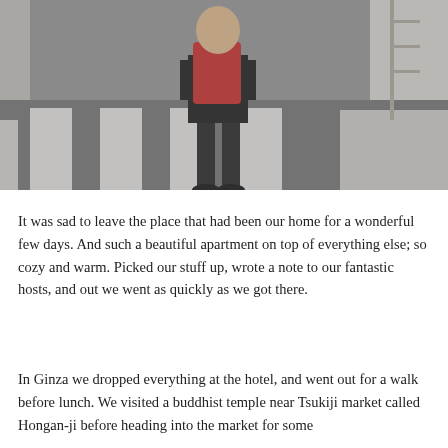[Figure (photo): A person wearing a red backpack and black pants standing on a zebra crosswalk. The scene shows grey street with white crosswalk stripes and a light-coloured sidewalk on the right.]
It was sad to leave the place that had been our home for a wonderful few days. And such a beautiful apartment on top of everything else; so cozy and warm. Picked our stuff up, wrote a note to our fantastic hosts, and out we went as quickly as we got there.
In Ginza we dropped everything at the hotel, and went out for a walk before lunch. We visited a buddhist temple near Tsukiji market called Hongan-ji before heading into the market for some